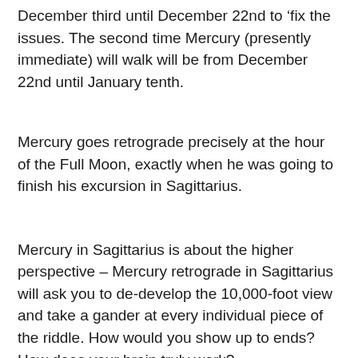December third until December 22nd to ‘fix the issues. The second time Mercury (presently immediate) will walk will be from December 22nd until January tenth.
Mercury goes retrograde precisely at the hour of the Full Moon, exactly when he was going to finish his excursion in Sagittarius.
Mercury in Sagittarius is about the higher perspective – Mercury retrograde in Sagittarius will ask you to de-develop the 10,000-foot view and take a gander at every individual piece of the riddle. How would you show up to ends? How does your brain truly work?